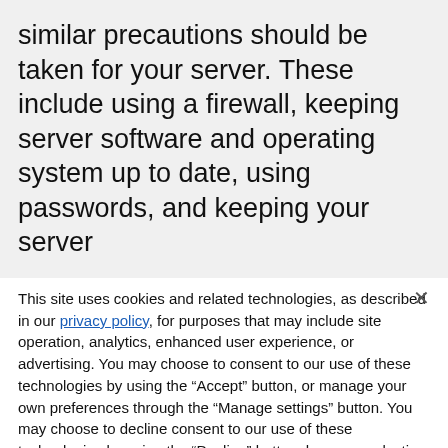similar precautions should be taken for your server. These include using a firewall, keeping server software and operating system up to date, using passwords, and keeping your server
This site uses cookies and related technologies, as described in our privacy policy, for purposes that may include site operation, analytics, enhanced user experience, or advertising. You may choose to consent to our use of these technologies by using the “Accept” button, or manage your own preferences through the “Manage settings” button. You may choose to decline consent to our use of these technologies by using the “Decline” button; however selecting this option still enables Required Cookies because they are necessary for the site to function, and you consent to our use of Required Cookies by continuing to use the site.